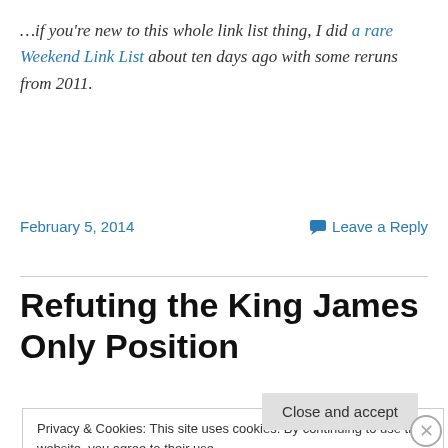…if you're new to this whole link list thing, I did a rare Weekend Link List about ten days ago with some reruns from 2011.
February 5, 2014    Leave a Reply
Refuting the King James Only Position
Privacy & Cookies: This site uses cookies. By continuing to use this website, you agree to their use. To find out more, including how to control cookies, see here: Cookie Policy
Close and accept